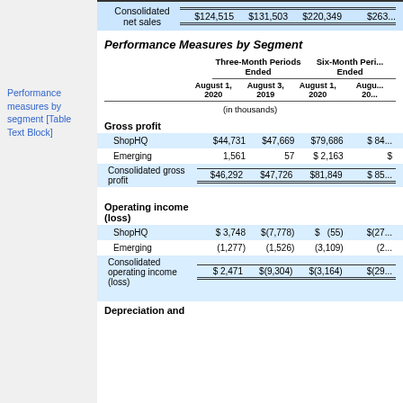|  | Three-Month Periods Ended August 1, 2020 | Three-Month Periods Ended August 3, 2019 | Six-Month Periods Ended August 1, 2020 | Six-Month Periods Ended August 3, 20... |
| --- | --- | --- | --- | --- |
| Consolidated net sales | $124,515 | $131,503 | $220,349 | $263... |
| Gross profit |  |  |  |  |
| ShopHQ | $44,731 | $47,669 | $79,686 | $84... |
| Emerging | 1,561 | 57 | $ 2,163 | $... |
| Consolidated gross profit | $46,292 | $47,726 | $81,849 | $85... |
| Operating income (loss) |  |  |  |  |
| ShopHQ | $ 3,748 | $(7,778) | $    (55) | $(27... |
| Emerging | (1,277) | (1,526) | (3,109) | (2... |
| Consolidated operating income (loss) | $ 2,471 | $(9,304) | $(3,164) | $(29... |
| Depreciation and |  |  |  |  |
Performance measures by segment [Table Text Block]
Performance Measures by Segment